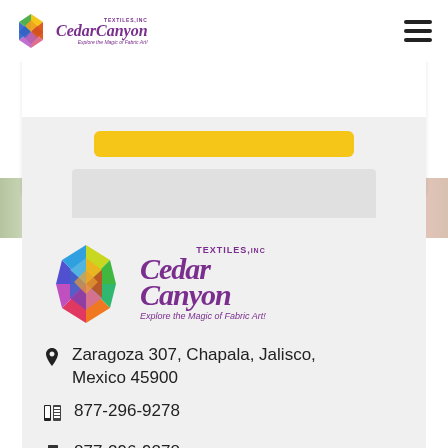Cedar Canyon Textiles, Inc. — Explore the Magic of Fabric Art!
[Figure (logo): Cedar Canyon Textiles Inc. logo with colorful quilt-block icon and purple script text, navigation bar]
[Figure (screenshot): Partial view of a yellow button and grey content area in a white card]
[Figure (photo): Colorful fabric/textile background image]
[Figure (logo): Large Cedar Canyon Textiles Inc. logo with colorful quilt-block icon and purple script lettering, tagline: Explore the Magic of Fabric Art!]
Zaragoza 307, Chapala, Jalisco, Mexico 45900
877-296-9278
877-296-9278